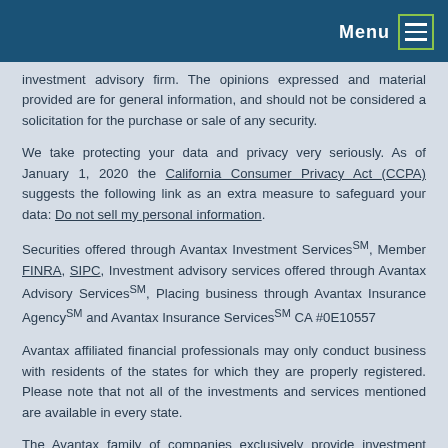Menu
investment advisory firm. The opinions expressed and material provided are for general information, and should not be considered a solicitation for the purchase or sale of any security.
We take protecting your data and privacy very seriously. As of January 1, 2020 the California Consumer Privacy Act (CCPA) suggests the following link as an extra measure to safeguard your data: Do not sell my personal information.
Securities offered through Avantax Investment ServicesSM, Member FINRA, SIPC, Investment advisory services offered through Avantax Advisory ServicesSM, Placing business through Avantax Insurance AgencySM and Avantax Insurance ServicesSM CA #0E10557
Avantax affiliated financial professionals may only conduct business with residents of the states for which they are properly registered. Please note that not all of the investments and services mentioned are available in every state.
The Avantax family of companies exclusively provide investment products and services through its representatives. Although